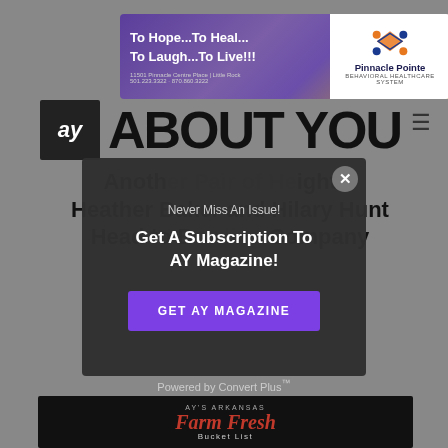[Figure (advertisement): Pinnacle Pointe Behavioral Healthcare System ad: 'To Hope...To Heal...To Laugh...To Live!!!' with purple/gold background and Pinnacle Pointe logo]
[Figure (logo): AY Magazine logo: dark square with 'ay' text and large 'ABOUT YOU' heading]
Another Pair of Heights: Heather Baker and Hilary Hunt Head to Bowling Company
[Figure (screenshot): Modal popup with close button (x), text 'Never Miss An Issue!', headline 'Get A Subscription To AY Magazine!', and purple button 'GET AY MAGAZINE']
Powered by Convert Plus™
[Figure (photo): Dark background image with 'AY's Arkansas Farm Fresh Bucket List' text in stylized font]